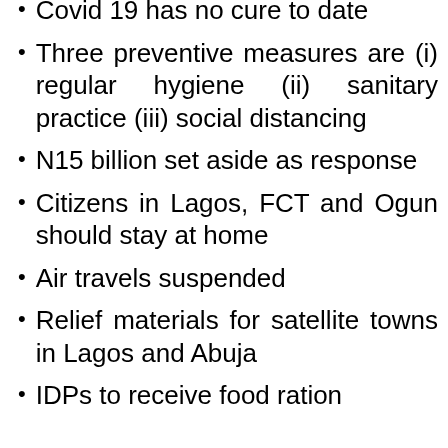Covid 19 has no cure to date
Three preventive measures are (i) regular hygiene (ii) sanitary practice (iii) social distancing
N15 billion set aside as response
Citizens in Lagos, FCT and Ogun should stay at home
Air travels suspended
Relief materials for satellite towns in Lagos and Abuja
IDPs to receive food ration